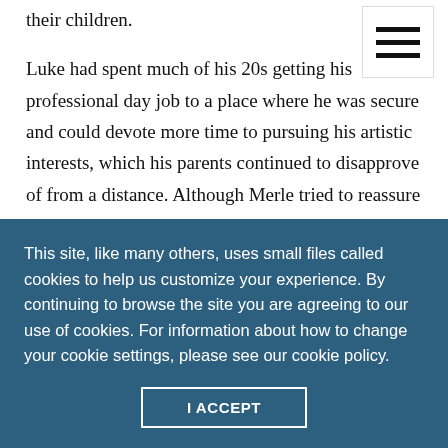their children.
Luke had spent much of his 20s getting his professional day job to a place where he was secure and could devote more time to pursuing his artistic interests, which his parents continued to disapprove of from a distance. Although Merle tried to reassure Luke that their baby would not change his ability to engage in his artistic pursuits, he knew from his own childhood experience...
This site, like many others, uses small files called cookies to help us customize your experience. By continuing to browse the site you are agreeing to our use of cookies. For information about how to change your cookie settings, please see our cookie policy.
I ACCEPT